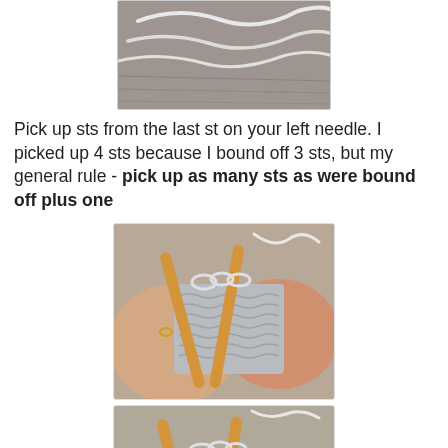[Figure (photo): Partial top photo showing knitting stitches and yarn on a wooden surface background, cropped at top]
Pick up sts from the last st on your left needle. I picked up 4 sts because I bound off 3 sts, but my general rule - pick up as many sts as were bound off plus one
[Figure (photo): Hands holding knitting needles (bamboo/wooden) with light gray yarn, picking up stitches from knitted fabric]
[Figure (photo): Hands holding knitting needles (bamboo/wooden) with light gray yarn, similar angle showing stitch pickup process]